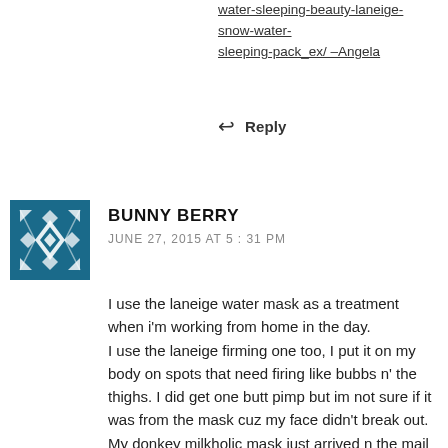water-sleeping-beauty-laneige-snow-water-sleeping-pack_ex/ –Angela
Reply
BUNNY BERRY
JUNE 27, 2015 AT 5:31 PM
I use the laneige water mask as a treatment when i'm working from home in the day.
I use the laneige firming one too, I put it on my body on spots that need firing like bubbs n' the thighs. I did get one butt pimp but im not sure if it was from the mask cuz my face didn't break out.
My donkey milkholic mask just arrived n the mail today!
I'll keep you posted. I'm 33 and look 27 so it will be nice to see how it works on someone whos not 19 or